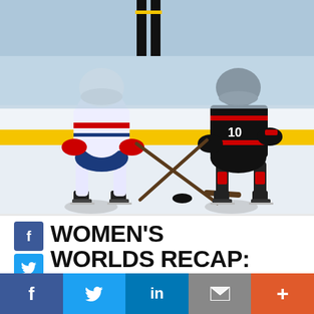[Figure (photo): Women's ice hockey players from USA (white/blue uniforms) and Canada (black/red uniforms) competing for the puck during a faceoff on ice, with a yellow rink board border visible]
WOMEN'S WORLDS RECAP: UNITED STATES 5, CANADA 2
Fillier and Shelton scored,
f  [Twitter bird]  in  [mail]  +